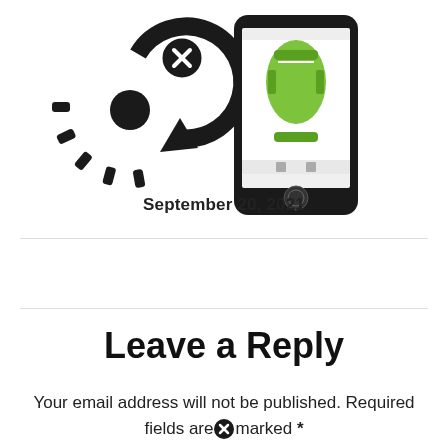[Figure (illustration): Two icons: a circular speedometer/refresh arrow icon with an X badge, and a smartphone showing a green car top-down view with remote start app interface]
September 20, 2021
Leave a Reply
Your email address will not be published. Required fields are marked *